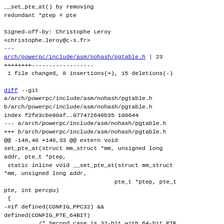__set_pte_at() by removing
redundant *ptep = pte
Signed-off-by: Christophe Leroy
<christophe.leroy@c-s.fr>
---
arch/powerpc/include/asm/nohash/pgtable.h | 23
++++++++------------------
 1 file changed, 8 insertions(+), 15 deletions(-)
diff --git
a/arch/powerpc/include/asm/nohash/pgtable.h
b/arch/powerpc/include/asm/nohash/pgtable.h
index f2fe3cbe90af..077472640b35 100644
--- a/arch/powerpc/include/asm/nohash/pgtable.h
+++ b/arch/powerpc/include/asm/nohash/pgtable.h
@@ -148,40 +148,33 @@ extern void set_pte_at(struct mm_struct *mm, unsigned long addr, pte_t *ptep,
 static inline void __set_pte_at(struct mm_struct *mm, unsigned long addr,
                                 pte_t *ptep, pte_t
pte, int percpu)
 {
-#if defined(CONFIG_PPC32) &&
defined(CONFIG_PTE_64BIT)
          /* Second case is 32-bit with 64-bit PTE.
 In this case, we
          * can just store as long as we do the two
halves in the right order